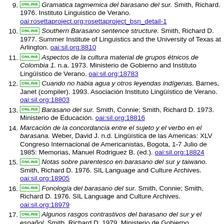9. [ONLINE] Gramatica tagmemica del barasano del sur. Smith, Richard. 1976. Instituto Linguistico de Verano. oai:rosettaproject.org:rosettaproject_bsn_detail-1
10. [ONLINE] Southern Barasano sentence structure. Smith, Richard D. 1977. Summer Institute of Linguistics and the University of Texas at Arlington. oai:sil.org:8810
11. [ONLINE] Aspectos de la cultura material de grupos étnicos de Colombia 1. n.a. 1973. Ministerio de Gobierno and Instituto Lingüístico de Verano. oai:sil.org:18783
12. [ONLINE] Cuando no habia agua y otros leyendas indígenas. Barnes, Janet (compiler). 1993. Asociación Instituto Lingüístico de Verano. oai:sil.org:18803
13. [ONLINE] Barasano del sur. Smith, Connie; Smith, Richard D. 1973. Ministerio de Educación. oai:sil.org:18816
14. Marcación de la concordancia entre el sujeto y el verbo en el barasana. Weber, David J. n.d. Lingüística de las Americas: XLV Congreso Internacional de Americanistas, Bogota, 1-7 Julio de 1985: Memorias, Manuel Rodriguez B. (ed.). oai:sil.org:18824
15. [ONLINE] Notas sobre parentesco en barasano del sur y taiwano. Smith, Richard D. 1976. SIL Language and Culture Archives. oai:sil.org:18905
16. [ONLINE] Fonología del barasano del sur. Smith, Connie; Smith, Richard D. 1976. SIL Language and Culture Archives. oai:sil.org:18979
17. [ONLINE] Algunos rasgos contrastivos del barasano del sur y el español. Smith, Richard D. 1979. Ministerio de Gobierno. oai:sil.org:19000